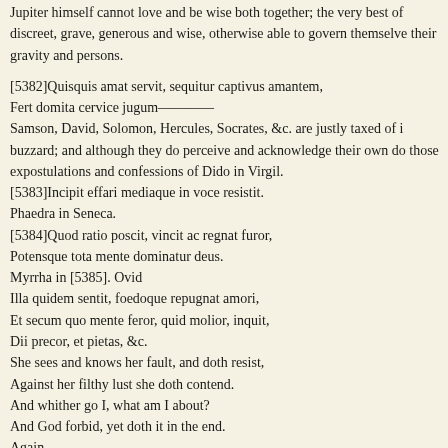Jupiter himself cannot love and be wise both together; the very best of discreet, grave, generous and wise, otherwise able to govern themselves, their gravity and persons.
[5382]Quisquis amat servit, sequitur captivus amantem,
Fert domita cervice jugum————
Samson, David, Solomon, Hercules, Socrates, &c. are justly taxed of i... buzzard; and although they do perceive and acknowledge their own do... those expostulations and confessions of Dido in Virgil.
[5383]Incipit effari mediaque in voce resistit.
Phaedra in Seneca.
[5384]Quod ratio poscit, vincit ac regnat furor,
Potensque tota mente dominatur deus.
Myrrha in [5385]. Ovid
Illa quidem sentit, foedoque repugnat amori,
Et secum quo mente feror, quid molior, inquit,
Dii precor, et pietas, &c.
She sees and knows her fault, and doth resist,
Against her filthy lust she doth contend.
And whither go I, what am I about?
And God forbid, yet doth it in the end.
Again,
————Per vigil igne
Carpitur indomito, furiosaque vota retrectat,
Et modo desperat, modo vult tentare, pudetque
Et modo desperat, modo vult tentare, pudetque